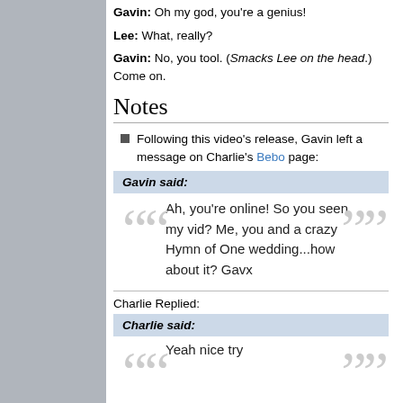Gavin: Oh my god, you're a genius!
Lee: What, really?
Gavin: No, you tool. (Smacks Lee on the head.) Come on.
Notes
Following this video's release, Gavin left a message on Charlie's Bebo page:
Gavin said:
Ah, you're online! So you seen my vid? Me, you and a crazy Hymn of One wedding...how about it? Gavx
Charlie Replied:
Charlie said:
Yeah nice try